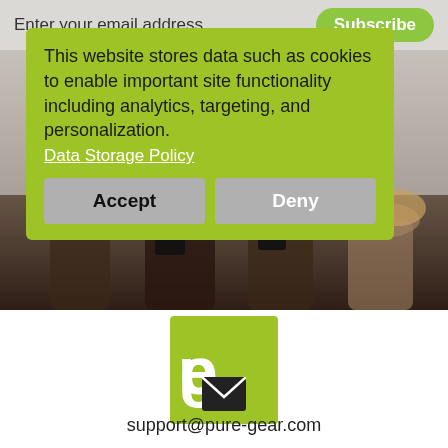Enter your email address
Subscribe
This website stores data such as cookies to enable important site functionality including analytics, targeting, and personalization. Data Storage Policy
Accept
Deny
[Figure (photo): Group of young people looking at smartphones, outdoor setting]
[Figure (logo): e.9 logo on lime green square background]
support@pure-gear.com